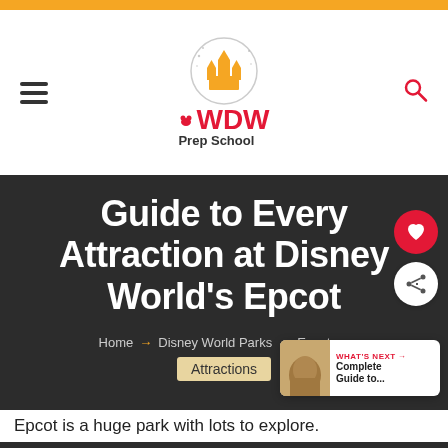WDW Prep School
Guide to Every Attraction at Disney World's Epcot
Home → Disney World Parks → Epcot → Attractions
WHAT'S NEXT → Complete Guide to...
Epcot is a huge park with lots to explore.